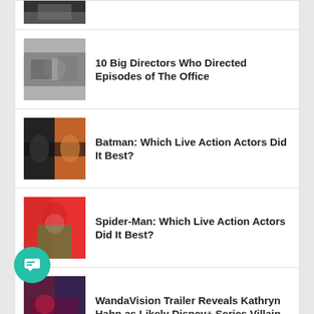[Figure (photo): Partial thumbnail image visible at top]
10 Big Directors Who Directed Episodes of The Office
[Figure (photo): Office scene thumbnail image]
Batman: Which Live Action Actors Did It Best?
[Figure (photo): Batman thumbnail image]
Spider-Man: Which Live Action Actors Did It Best?
[Figure (photo): Spider-Man thumbnail image]
WandaVision Trailer Reveals Kathryn Hahn as Likely Disney+ Series Villain
[Figure (photo): WandaVision thumbnail image]
[Figure (other): Teal chat/message button in bottom left]